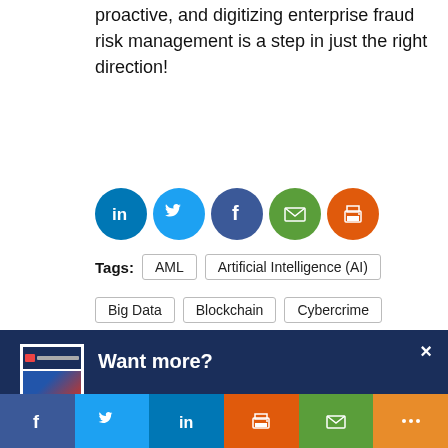proactive, and digitizing enterprise fraud risk management is a step in just the right direction!
[Figure (illustration): Row of five social media sharing icons (LinkedIn, Twitter, Facebook, Email, Print) as colored circles]
Tags: AML   Artificial Intelligence (AI)   Big Data   Blockchain   Cybercrime
[Figure (screenshot): Popup overlay with dark blue background showing 'Want more?' heading, a newsletter thumbnail image on the left, text 'Get CCI's weekly round-up in your inbox. Unsubscribe anytime.' and a white button labeled 'Let's do this!']
[Figure (illustration): Bottom share bar with six icons: Facebook (dark blue), Twitter (light blue), LinkedIn (medium blue), Print (orange), Email (green), Share (orange)]